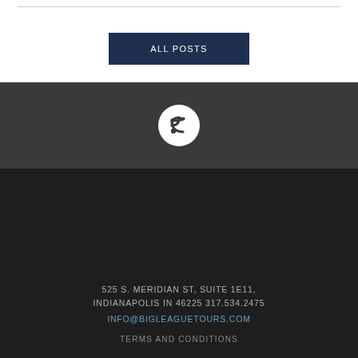ALL POSTS
[Figure (other): RSS feed icon — white circle with gray background containing an RSS/wifi signal symbol]
525 S. MERIDIAN ST, SUITE 1E11, INDIANAPOLIS IN 46225 317.534.2475
INFO@BIGLEAGUETOURS.COM
TERMS AND CONDITIONS